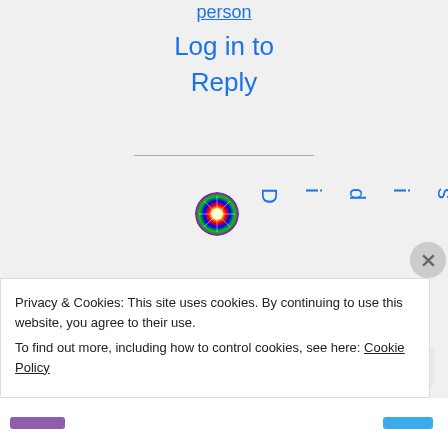person
Log in to
Reply
[Figure (illustration): Colorful circular avatar icon with rainbow/mandala pattern]
Did isArr
Privacy & Cookies: This site uses cookies. By continuing to use this website, you agree to their use.
To find out more, including how to control cookies, see here: Cookie Policy
Close and accept